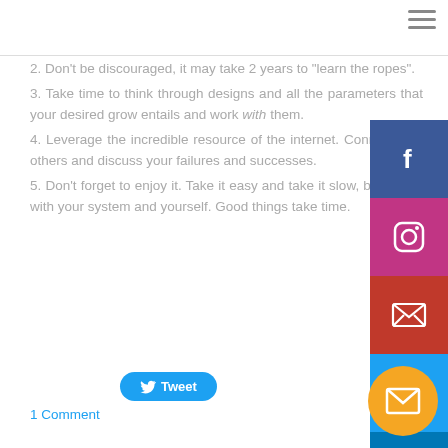2. Don't be discouraged, it may take 2 years to "learn the ropes".
3. Take time to think through designs and all the parameters that your desired grow entails and work with them.
4. Leverage the incredible resource of the internet. Connect with others and discuss your failures and successes.
5. Don't forget to enjoy it. Take it easy and take it slow, be patient with your system and yourself. Good things take time.
Tweet
1 Comment